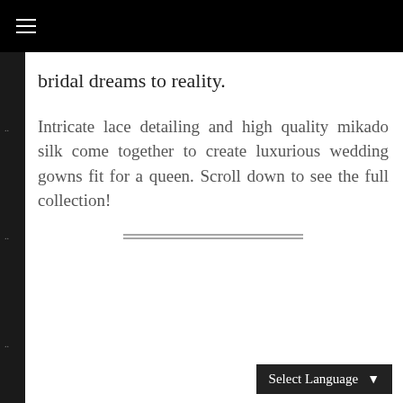≡
bridal dreams to reality.
Intricate lace detailing and high quality mikado silk come together to create luxurious wedding gowns fit for a queen. Scroll down to see the full collection!
[Figure (other): Horizontal decorative double-line divider]
Select Language